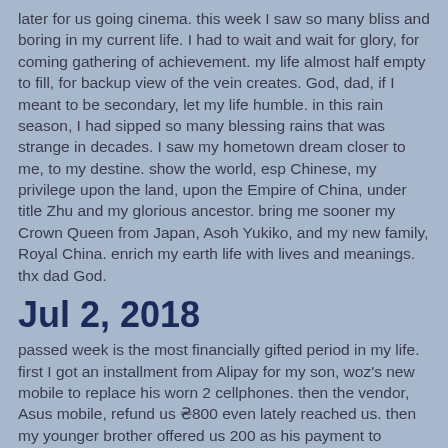later for us going cinema. this week I saw so many bliss and boring in my current life. I had to wait and wait for glory, for coming gathering of achievement. my life almost half empty to fill, for backup view of the vein creates. God, dad, if I meant to be secondary, let my life humble. in this rain season, I had sipped so many blessing rains that was strange in decades. I saw my hometown dream closer to me, to my destine. show the world, esp Chinese, my privilege upon the land, upon the Empire of China, under title Zhu and my glorious ancestor. bring me sooner my Crown Queen from Japan, Asoh Yukiko, and my new family, Royal China. enrich my earth life with lives and meanings. thx dad God.
Jul 2, 2018
passed week is the most financially gifted period in my life. first I got an installment from Alipay for my son, woz's new mobile to replace his worn 2 cellphones. then the vendor, Asus mobile, refund us ₴800 even lately reached us. then my younger brother offered us 200 as his payment to launch a conversation with me. then my nephew, ie. 1st son of my best beloved 3rd elder sister's, who operates an online clothes store at taobao.com, refund us 500 after we sent him